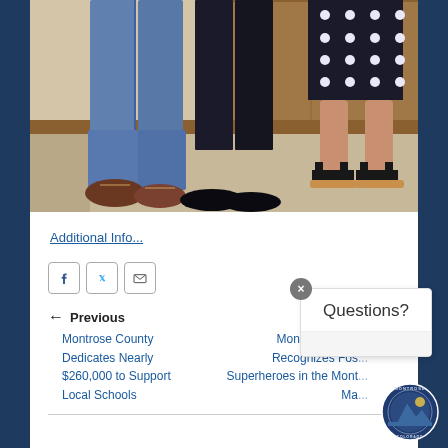[Figure (photo): Lower halves of three people standing indoors; left person wearing blue jeans and brown shoes, middle person wearing black pants and black shoes, right person wearing a black and white dotted skirt and black strappy sandals. Wooden wall paneling visible in background.]
Additional Info...
[Figure (other): Social sharing buttons: Facebook, Twitter, Email]
Previous
Montrose County Dedicates Nearly $260,000 to Support Local Schools
Montrose County Recognizes Foster Superheroes in the Month of May
[Figure (logo): Montrose County Colorado circular seal/logo]
Questions?